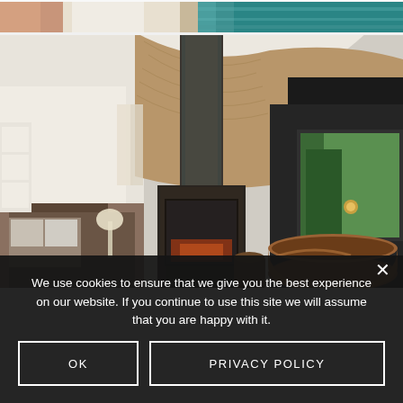[Figure (photo): Top strip of a photo showing a person in white clothing and teal/turquoise water]
[Figure (photo): Interior of a circular wooden cabin with wood-paneled walls, a black metal wood-burning stove with a cylindrical flue pipe extending to the ceiling, a copper bathtub near a large window overlooking trees, and a white bedroom area visible in the background]
We use cookies to ensure that we give you the best experience on our website. If you continue to use this site we will assume that you are happy with it.
OK
PRIVACY POLICY
×